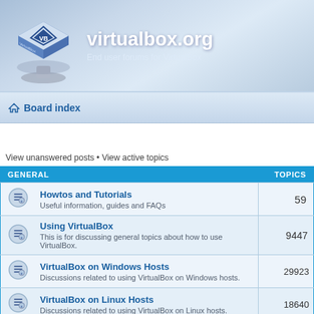[Figure (logo): VirtualBox logo - blue cube with VB branding on a stand]
virtualbox.org
End user forums for VirtualBox
Board index
View unanswered posts • View active topics
| GENERAL | TOPICS |
| --- | --- |
| Howtos and Tutorials
Useful information, guides and FAQs | 59 |
| Using VirtualBox
This is for discussing general topics about how to use VirtualBox. | 9447 |
| VirtualBox on Windows Hosts
Discussions related to using VirtualBox on Windows hosts. | 29923 |
| VirtualBox on Linux Hosts
Discussions related to using VirtualBox on Linux hosts. | 18640 |
| VirtualBox on Mac OS X Hosts |  |